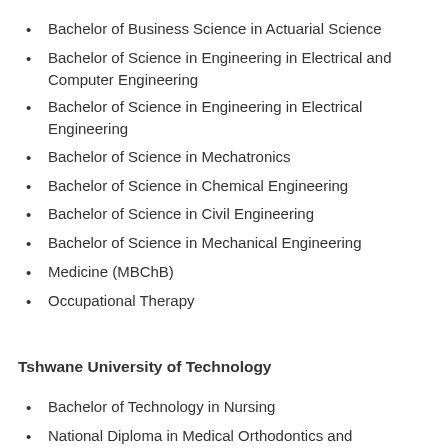Bachelor of Business Science in Actuarial Science
Bachelor of Science in Engineering in Electrical and Computer Engineering
Bachelor of Science in Engineering in Electrical Engineering
Bachelor of Science in Mechatronics
Bachelor of Science in Chemical Engineering
Bachelor of Science in Civil Engineering
Bachelor of Science in Mechanical Engineering
Medicine (MBChB)
Occupational Therapy
Tshwane University of Technology
Bachelor of Technology in Nursing
National Diploma in Medical Orthodontics and Prosthetics